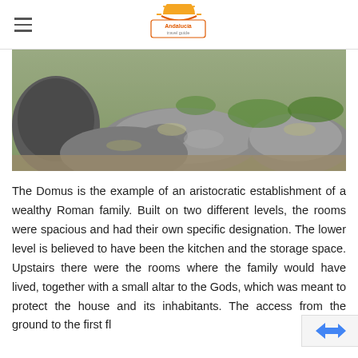Andalucia travel guide (logo)
[Figure (photo): Photograph of ancient Roman stone ruins with large rocks and grass in background]
The Domus is the example of an aristocratic establishment of a wealthy Roman family. Built on two different levels, the rooms were spacious and had their own specific designation. The lower level is believed to have been the kitchen and the storage space. Upstairs there were the rooms where the family would have lived, together with a small altar to the Gods, which was meant to protect the house and its inhabitants. The access from the ground to the first fl